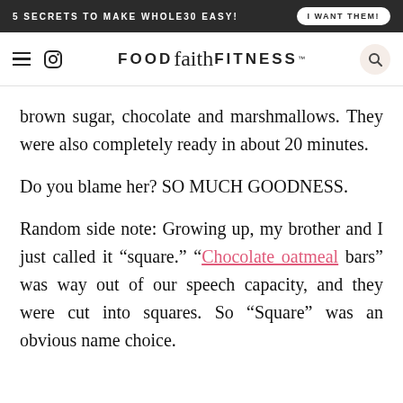5 SECRETS TO MAKE WHOLE30 EASY! | I WANT THEM!
FOOD faith FITNESS
brown sugar, chocolate and marshmallows. They were also completely ready in about 20 minutes.
Do you blame her? SO MUCH GOODNESS.
Random side note: Growing up, my brother and I just called it “square.” “Chocolate oatmeal bars” was way out of our speech capacity, and they were cut into squares. So “Square” was an obvious name choice.